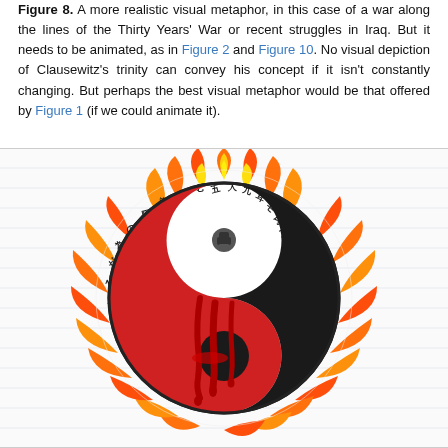Figure 8. A more realistic visual metaphor, in this case of a war along the lines of the Thirty Years' War or recent struggles in Iraq. But it needs to be animated, as in Figure 2 and Figure 10. No visual depiction of Clausewitz's trinity can convey his concept if it isn't constantly changing. But perhaps the best visual metaphor would be that offered by Figure 1 (if we could animate it).
[Figure (illustration): A yin-yang symbol rendered dramatically with the white half replaced by red blood dripping over black, surrounded by flames and Chinese characters arranged in a circle around the outer edge.]